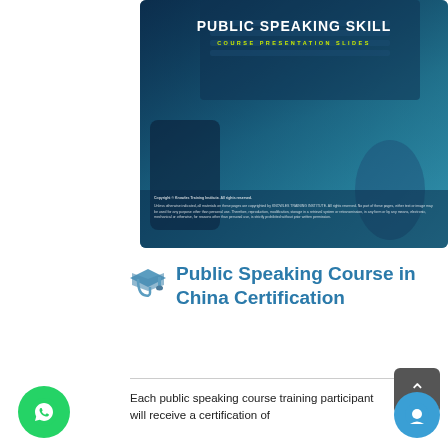[Figure (screenshot): Screenshot of a Public Speaking Skill Course Presentation Slides cover slide. Dark blue background with a laptop and desk setting. Title reads PUBLIC SPEAKING SKILL in bold white. Subtitle reads COURSE PRESENTATION SLIDES in yellow-green. Copyright notice from Knowles Training Institute at the bottom.]
Public Speaking Course in China Certification
Each public speaking course training participant will receive a certification of